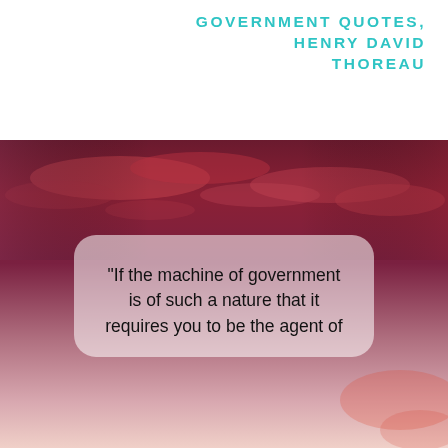GOVERNMENT QUOTES, HENRY DAVID THOREAU
[Figure (photo): Dramatic sky with deep red and purple clouds fading to lighter hues at the horizon, with a semi-transparent white rounded rectangle overlay containing a quote]
“If the machine of government is of such a nature that it requires you to be the agent of